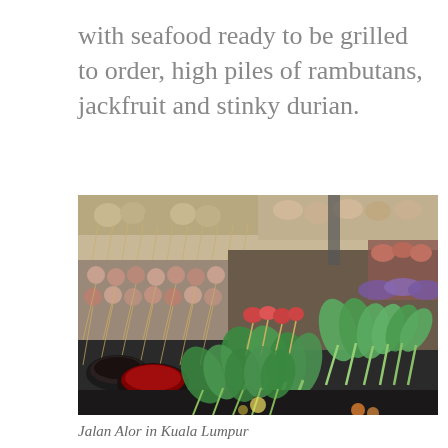with seafood ready to be grilled to order, high piles of rambutans, jackfruit and stinky durian.
[Figure (photo): A food market stall display showing various skewered foods on sticks including vegetables, meat balls, and greens arranged in rows, with dipping sauce bowls visible in the foreground. Jalan Alor night market in Kuala Lumpur.]
Jalan Alor in Kuala Lumpur